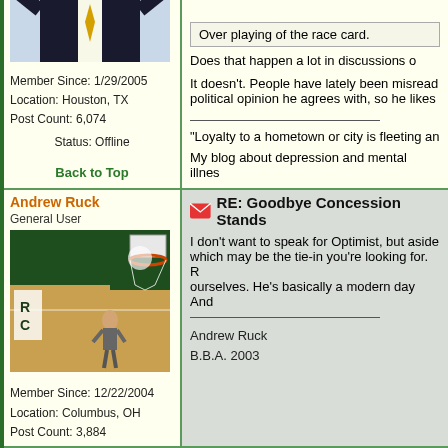[Figure (photo): Man in dark suit with yellow tie giving double finger guns pose]
Member Since: 1/29/2005
Location: Houston, TX
Post Count: 6,074
Status: Offline
Back to Top
Over playing of the race card.
Does that happen a lot in discussions o
It doesn't. People have lately been misread political opinion he agrees with, so he likes
"Loyalty to a hometown or city is fleeting an
My blog about depression and mental illnes
Andrew Ruck
General User
[Figure (photo): Child standing on basketball court near hoop]
Member Since: 12/22/2004
Location: Columbus, OH
Post Count: 3,884
RE: Goodbye Concession Stands
I don't want to speak for Optimist, but aside which may be the tie-in you're looking for. R ourselves. He's basically a modern day And
Andrew Ruck
B.B.A. 2003